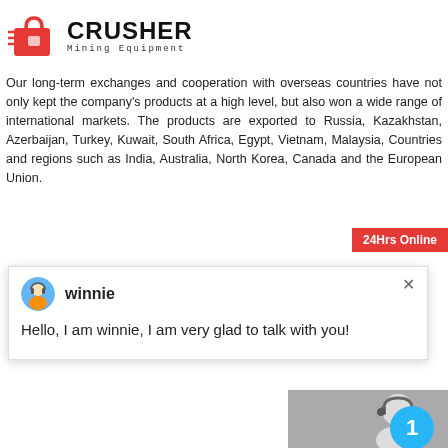[Figure (logo): Crusher Mining Equipment logo with red shopping bag icon and bold black CRUSHER text]
Our long-term exchanges and cooperation with overseas countries have not only kept the company's products at a high level, but also won a wide range of international markets. The products are exported to Russia, Kazakhstan, Azerbaijan, Turkey, Kuwait, South Africa, Egypt, Vietnam, Malaysia, Countries and regions such as India, Australia, North Korea, Canada and the European Union.
[Figure (screenshot): 24Hrs Online red badge in top right area]
[Figure (screenshot): Live chat popup with agent avatar, name winnie, and greeting message: Hello, I am winnie, I am very glad to talk with you!]
[Figure (screenshot): Right sidebar with headset agent image, notification bubble showing 1, Chat Now button, Enquiry section, and email limingjlmofen@sina.com]